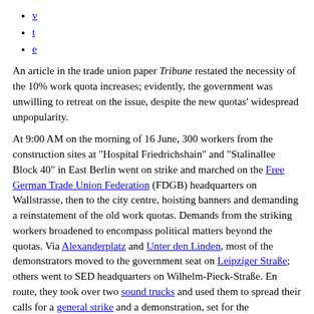v
t
e
An article in the trade union paper Tribune restated the necessity of the 10% work quota increases; evidently, the government was unwilling to retreat on the issue, despite the new quotas' widespread unpopularity.
At 9:00 AM on the morning of 16 June, 300 workers from the construction sites at "Hospital Friedrichshain" and "Stalinallee Block 40" in East Berlin went on strike and marched on the Free German Trade Union Federation (FDGB) headquarters on Wallstrasse, then to the city centre, hoisting banners and demanding a reinstatement of the old work quotas. Demands from the striking workers broadened to encompass political matters beyond the quotas. Via Alexanderplatz and Unter den Linden, most of the demonstrators moved to the government seat on Leipziger Straße; others went to SED headquarters on Wilhelm-Pieck-Straße. En route, they took over two sound trucks and used them to spread their calls for a general strike and a demonstration, set for the Strausberger Platz at 7:00 AM the next day. In front of the GDR House of Ministries, the rapidly growing crowd demanded to speak to Ulbricht and Grotewohl. Only Heavy Industry Minister Fritz